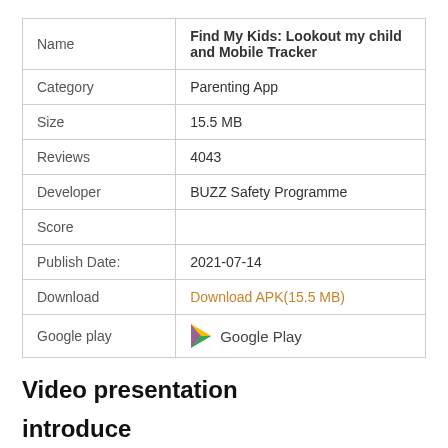| Name | Find My Kids: Lookout my child and Mobile Tracker |
| Category | Parenting App |
| Size | 15.5 MB |
| Reviews | 4043 |
| Developer | BUZZ Safety Programme |
| Score |  |
| Publish Date: | 2021-07-14 |
| Download | Download APK(15.5 MB) |
| Google play | Google Play |
Video presentation
introduce🔲